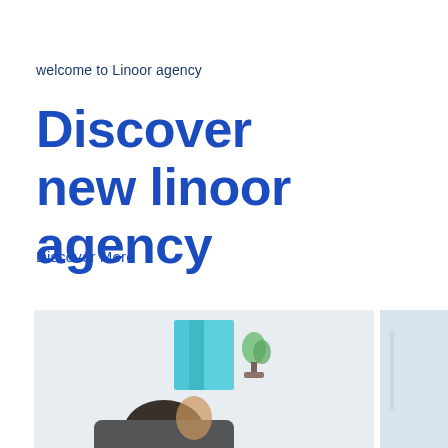welcome to Linoor agency
Discover
new linoor agency
Discover More
[Figure (photo): Office scene with a person in the foreground, teal/blue folders and a small plant visible in the background. Two photo panels visible at the bottom of the page.]